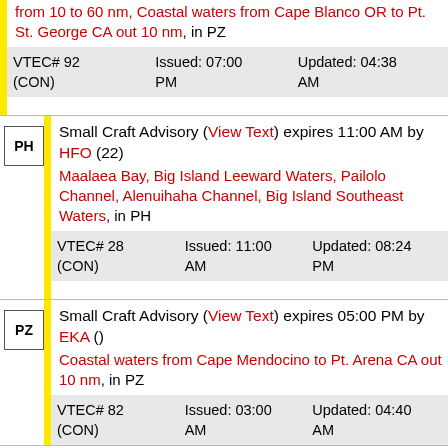from 10 to 60 nm, Coastal waters from Cape Blanco OR to Pt. St. George CA out 10 nm, in PZ
VTEC# 92 (CON)   Issued: 07:00 PM   Updated: 04:38 AM
Small Craft Advisory (View Text) expires 11:00 AM by HFO (22)
Maalaea Bay, Big Island Leeward Waters, Pailolo Channel, Alenuihaha Channel, Big Island Southeast Waters, in PH
VTEC# 28 (CON)   Issued: 11:00 AM   Updated: 08:24 PM
Small Craft Advisory (View Text) expires 05:00 PM by EKA ()
Coastal waters from Cape Mendocino to Pt. Arena CA out 10 nm, in PZ
VTEC# 82 (CON)   Issued: 03:00 AM   Updated: 04:40 AM